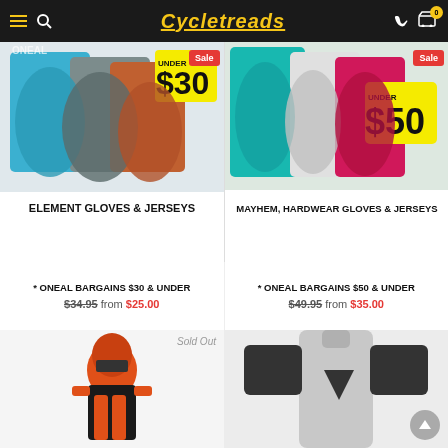Cycletreads
[Figure (photo): ONeal Element Gloves & Jerseys under $30, Sale badge, multiple jerseys displayed]
[Figure (photo): ONeal Mayhem Hardwear Gloves & Jerseys under $50, Sale badge, multiple jerseys displayed]
* ONEAL BARGAINS $30 & UNDER
$34.95 from $25.00
* ONEAL BARGAINS $50 & UNDER
$49.95 from $35.00
[Figure (photo): Fox motocross gear set in orange and black, Sold Out]
[Figure (photo): Shift motocross jersey in grey and black]